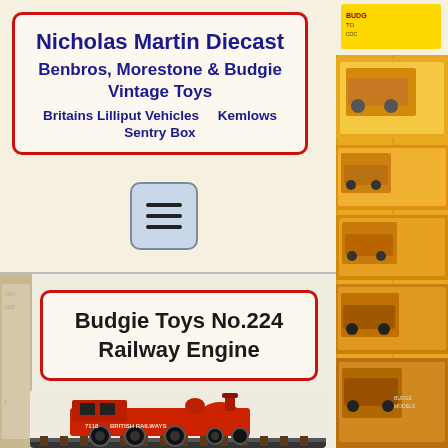Nicholas Martin Diecast Benbros, Morestone & Budgie Vintage Toys Britains Lilliput Vehicles   Kemlows   Sentry Box
[Figure (other): Hamburger menu button icon with three horizontal lines on a light blue rounded square background]
[Figure (photo): Shelf of vintage toy boxes with yellow packaging visible on the right side of the page]
Budgie Toys No.224 Railway Engine
[Figure (photo): Red diecast toy railway engine model marked '7118 BRITISH RAILWAYS' on a track, photographed close up]